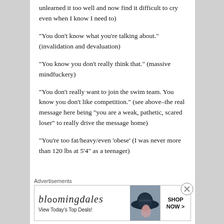unlearned it too well and now find it difficult to cry even when I know I need to)
“You don’t know what you’re talking about.” (invalidation and devaluation)
“You know you don’t really think that.” (massive mindfuckery)
“You don’t really want to join the swim team. You know you don’t like competition.” (see above–the real message here being “you are a weak, pathetic, scared loser” to really drive the message home)
“You’re too fat/heavy/even ‘obese’ (I was never more than 120 lbs at 5’4” as a teenager)
Advertisements
[Figure (other): Bloomingdale's advertisement banner with logo, 'View Today's Top Deals!' text, woman with hat image, and 'SHOP NOW >' button]